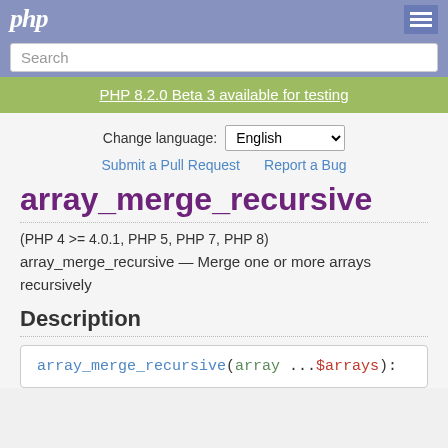php
Search
PHP 8.2.0 Beta 3 available for testing
Change language: English
Submit a Pull Request   Report a Bug
array_merge_recursive
(PHP 4 >= 4.0.1, PHP 5, PHP 7, PHP 8)
array_merge_recursive — Merge one or more arrays recursively
Description
array_merge_recursive(array ...$arrays):